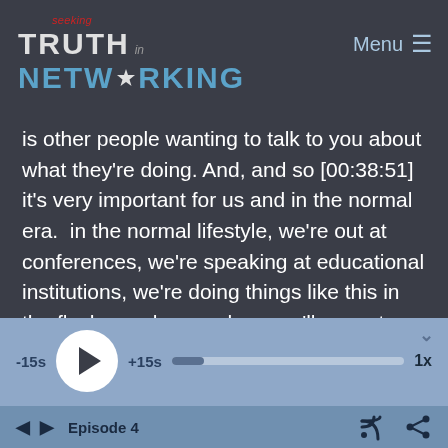seeking TRUTH in NETWORKING — Menu
is other people wanting to talk to you about what they're doing. And, and so [00:38:51] it's very important for us and in the normal era.  in the normal lifestyle, we're out at conferences, we're speaking at educational institutions, we're doing things like this in the flash, you know, where we'll come to a company and talk, uh, we're going to pitch days and two incubators or accelerators, whatever, whatever we can do to be in the flow with the
[Figure (screenshot): Audio player controls with -15s skip, play button, +15s skip, progress bar, and 1x speed label on a blue-grey background]
◄ ► Episode 4